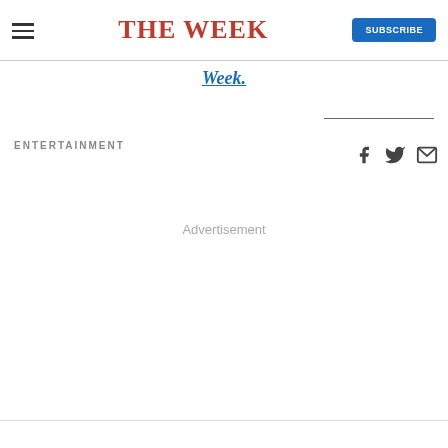THE WEEK
Week.
ENTERTAINMENT
Advertisement